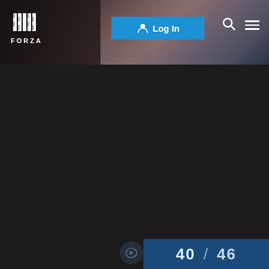[Figure (screenshot): Forza website header with logo on left, blue Log In button in center-right, search icon and hamburger menu on far right, with a dark dramatic racing game background image showing mountains and a vehicle]
40 / 46